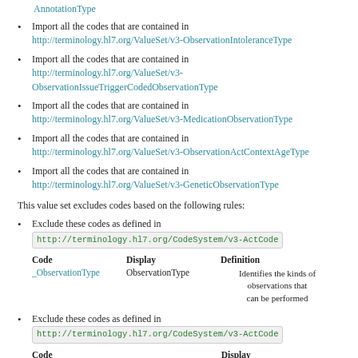AnnotationType
Import all the codes that are contained in http://terminology.hl7.org/ValueSet/v3-ObservationIntoleranceType
Import all the codes that are contained in http://terminology.hl7.org/ValueSet/v3-ObservationIssueTriggerCodedObservationType
Import all the codes that are contained in http://terminology.hl7.org/ValueSet/v3-MedicationObservationType
Import all the codes that are contained in http://terminology.hl7.org/ValueSet/v3-ObservationActContextAgeType
Import all the codes that are contained in http://terminology.hl7.org/ValueSet/v3-GeneticObservationType
This value set excludes codes based on the following rules:
Exclude these codes as defined in http://terminology.hl7.org/CodeSystem/v3-ActCode
| Code | Display | Definition |
| --- | --- | --- |
| _ObservationType | ObservationType | Identifies the kinds of observations that can be performed |
Exclude these codes as defined in http://terminology.hl7.org/CodeSystem/v3-ActCode
| Code | Display |
| --- | --- |
| _ObservationIssueTriggerCodedObservationType | ObservationIssueTriggerCodedOb... |